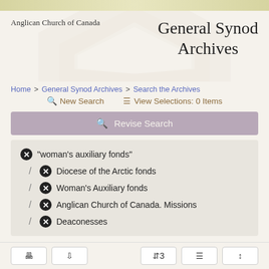Anglican Church of Canada
General Synod Archives
Home > General Synod Archives > Search the Archives
New Search   View Selections: 0 Items
Revise Search
"woman's auxiliary fonds"
/ Diocese of the Arctic fonds
/ Woman's Auxiliary fonds
/ Anglican Church of Canada. Missions
/ Deaconesses